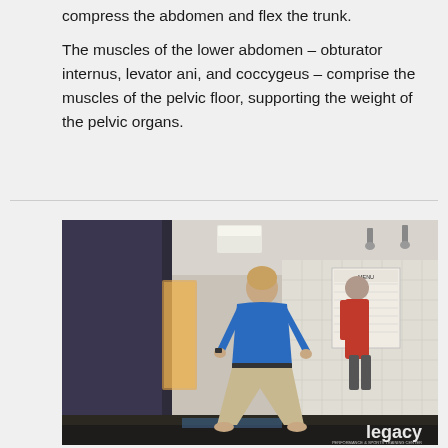compress the abdomen and flex the trunk.

The muscles of the lower abdomen – obturator internus, levator ani, and coccygeus – comprise the muscles of the pelvic floor, supporting the weight of the pelvic organs.
[Figure (photo): A person in a blue shirt and khaki shorts doing a squat exercise in a gym or fitness studio. A second person in red is visible in the background. A whiteboard menu is visible on the right wall. The image has a 'legacy' watermark in the bottom right corner.]